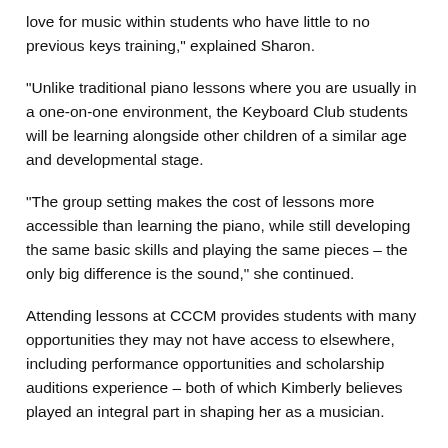love for music within students who have little to no previous keys training," explained Sharon.
"Unlike traditional piano lessons where you are usually in a one-on-one environment, the Keyboard Club students will be learning alongside other children of a similar age and developmental stage.
"The group setting makes the cost of lessons more accessible than learning the piano, while still developing the same basic skills and playing the same pieces – the only big difference is the sound," she continued.
Attending lessons at CCCM provides students with many opportunities they may not have access to elsewhere, including performance opportunities and scholarship auditions experience – both of which Kimberly believes played an integral part in shaping her as a musician.
"CCCM exposes you to a whole community of musicians from every genre and instrument; I remember watching these older perform at